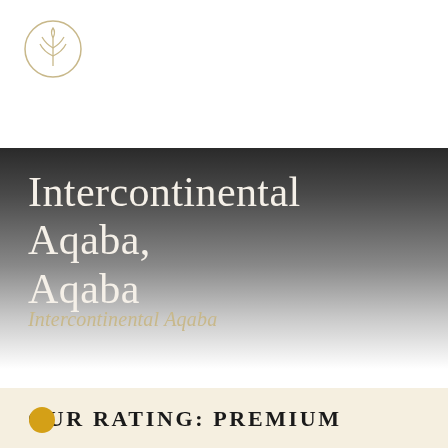[Figure (logo): Circular logo with a tree/plant symbol inside, thin outline circle, on white background]
Intercontinental Aqaba, Aqaba
Intercontinental Aqaba
OUR RATING: PREMIUM